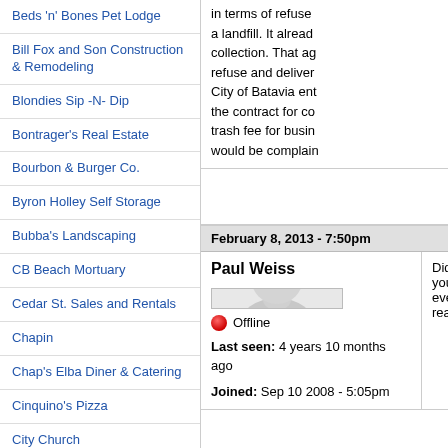Beds 'n' Bones Pet Lodge
Bill Fox and Son Construction & Remodeling
Blondies Sip -N- Dip
Bontrager's Real Estate
Bourbon & Burger Co.
Byron Holley Self Storage
Bubba's Landscaping
CB Beach Mortuary
Cedar St. Sales and Rentals
Chapin
Chap's Elba Diner & Catering
Cinquino's Pizza
City Church
Classic Optical
The Coffee Press
Council Opticians
Crazy Cheap Cars
in terms of refuse... a landfill. It already collection. That ag refuse and deliver City of Batavia ent the contract for co trash fee for busin would be complain
February 8, 2013 - 7:50pm
Paul Weiss
[Figure (illustration): Generic user avatar silhouette - gray person icon]
Offline
Last seen: 4 years 10 months ago
Joined: Sep 10 2008 - 5:05pm
Did you ever read